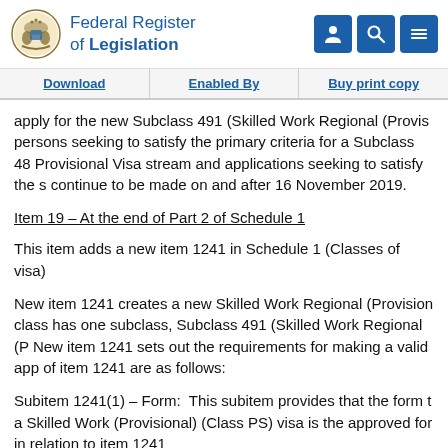Federal Register of Legislation
Download | Enabled By | Buy print copy
apply for the new Subclass 491 (Skilled Work Regional (Provis persons seeking to satisfy the primary criteria for a Subclass 48 Provisional Visa stream and applications seeking to satisfy the s continue to be made on and after 16 November 2019.
Item 19 – At the end of Part 2 of Schedule 1
This item adds a new item 1241 in Schedule 1 (Classes of visa)
New item 1241 creates a new Skilled Work Regional (Provision class has one subclass, Subclass 491 (Skilled Work Regional (P New item 1241 sets out the requirements for making a valid app of item 1241 are as follows:
Subitem 1241(1) – Form:  This subitem provides that the form t a Skilled Work (Provisional) (Class PS) visa is the approved for in relation to item 1241